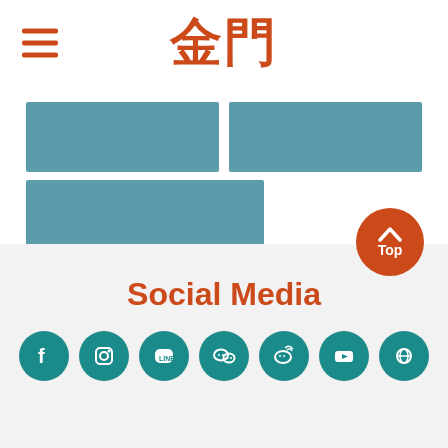金門
[Figure (screenshot): Mobile web interface showing a navigation menu with hamburger icon and Chinese characters 金門 as the site title, with teal/dark-cyan category tiles below including one labeled 'Military History']
Military History
Top
Social Media
[Figure (illustration): Row of social media icons on teal circular backgrounds: Facebook, Instagram, LINE, WeChat, Weibo, YouTube, and another platform]